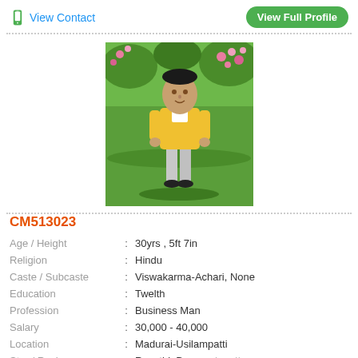View Contact
View Full Profile
[Figure (photo): Profile photo of a man in a yellow jacket and grey pants standing in front of a green garden background with flowers]
CM513023
| Age / Height | : | 30yrs , 5ft 7in |
| Religion | : | Hindu |
| Caste / Subcaste | : | Viswakarma-Achari, None |
| Education | : | Twelth |
| Profession | : | Business Man |
| Salary | : | 30,000 - 40,000 |
| Location | : | Madurai-Usilampatti |
| Star / Rasi | : | Revathi ,Does not matter : |